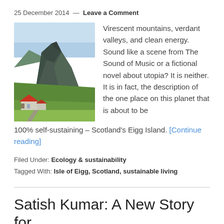25 December 2014 — Leave a Comment
[Figure (photo): A large rocky mountain peak with green slopes, and a small cottage with a red roof in the foreground, set in a Scottish landscape.]
Virescent mountains, verdant valleys, and clean energy. Sound like a scene from The Sound of Music or a fictional novel about utopia? It is neither. It is in fact, the description of the one place on this planet that is about to be 100% self-sustaining – Scotland's Eigg Island. [Continue reading]
Filed Under: Ecology & sustainability
Tagged With: Isle of Eigg, Scotland, sustainable living
Satish Kumar: A New Story for